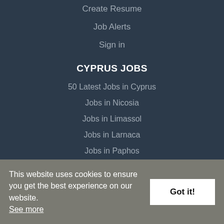Create Resume
Job Alerts
Sign in
CYPRUS JOBS
50 Latest Jobs in Cyprus
Jobs in Nicosia
Jobs in Limassol
Jobs in Larnaca
Jobs in Paphos
Jobs in Famagusta
This website uses cookies to ensure you get the best experience on our website. See more